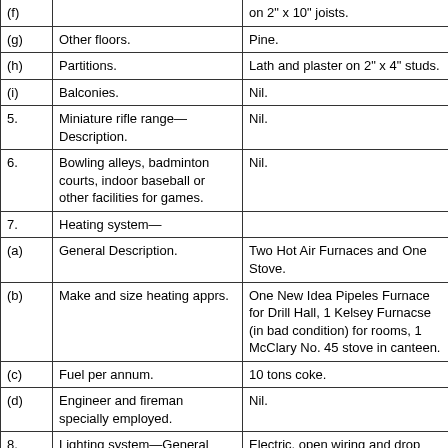| (f) | [partial top] | on 2" x 10" joists. |
| (g) | Other floors. | Pine. |
| (h) | Partitions. | Lath and plaster on 2" x 4" studs. |
| (i) | Balconies. | Nil. |
| 5. | Miniature rifle range—Description. | Nil. |
| 6. | Bowling alleys, badminton courts, indoor baseball or other facilities for games. | Nil. |
| 7. | Heating system— |  |
| (a) | General Description. | Two Hot Air Furnaces and One Stove. |
| (b) | Make and size heating apprs. | One New Idea Pipeles Furnace for Drill Hall, 1 Kelsey Furnacse (in bad condition) for rooms, 1 McClary No. 45 stove in canteen. |
| (c) | Fuel per annum. | 10 tons coke. |
| (d) | Engineer and fireman specially employed. | Nil. |
| 8. | Lighting system—General description. | Electric, open wiring and drop lights. |
| 9. | Fire protection. Show position of standpipes in building, on site or on street plan. | Village volunteer fire department. No hydrants on property. |
| 10. | Caretakers— |  |
| (a) | Military. Civili... | Civili... |